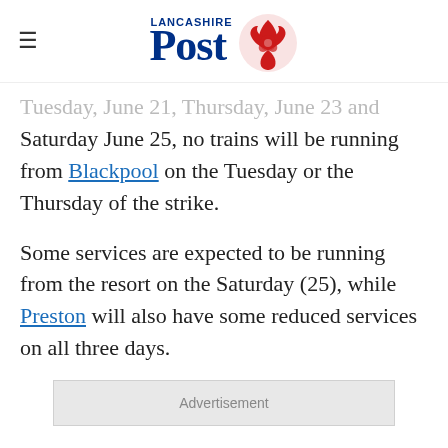Lancashire Post
Tuesday, June 21, Thursday, June 23 and Saturday June 25, no trains will be running from Blackpool on the Tuesday or the Thursday of the strike.
Some services are expected to be running from the resort on the Saturday (25), while Preston will also have some reduced services on all three days.
[Figure (other): Advertisement placeholder box]
However, Northern is still advising customers not to travel on the strike dates and where